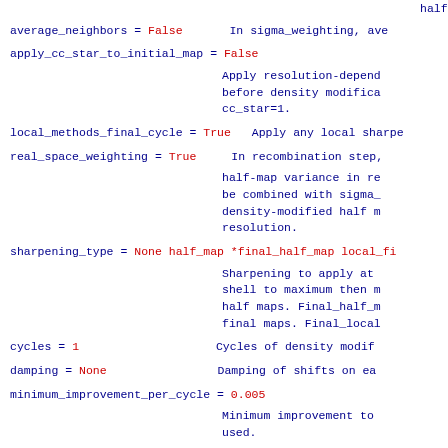half maps so that hal...
average_neighbors = False   In sigma_weighting, ave...
apply_cc_star_to_initial_map = False
Apply resolution-depend... before density modifica... cc_star=1.
local_methods_final_cycle = True   Apply any local sharpe...
real_space_weighting = True   In recombination step, half-map variance in re... be combined with sigma_... density-modified half m... resolution.
sharpening_type = None half_map *final_half_map local_fi...   Sharpening to apply at... shell to maximum then m... half maps. Final_half_m... final maps. Final_local...
cycles = 1   Cycles of density modif...
damping = None   Damping of shifts on ea...
minimum_improvement_per_cycle = 0.005   Minimum improvement to... used.
zero_half_dataset_correlation = False   Assume correlation betw...
very_high_error = 100   If an error (asqr,bsqr,... keep this value for all...
cc_cut = 0.2   Estimate of minimum hig...